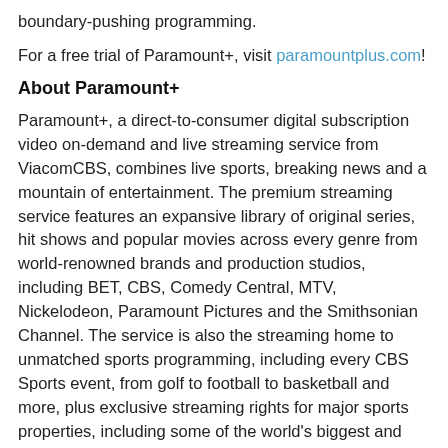boundary-pushing programming.
For a free trial of Paramount+, visit paramountplus.com!
About Paramount+
Paramount+, a direct-to-consumer digital subscription video on-demand and live streaming service from ViacomCBS, combines live sports, breaking news and a mountain of entertainment. The premium streaming service features an expansive library of original series, hit shows and popular movies across every genre from world-renowned brands and production studios, including BET, CBS, Comedy Central, MTV, Nickelodeon, Paramount Pictures and the Smithsonian Channel. The service is also the streaming home to unmatched sports programming, including every CBS Sports event, from golf to football to basketball and more, plus exclusive streaming rights for major sports properties, including some of the world's biggest and most popular soccer leagues. Paramount+ also enables subscribers to stream local CBS stations live across the U.S. in addition to the ability to stream ViacomCBS Streaming's other live